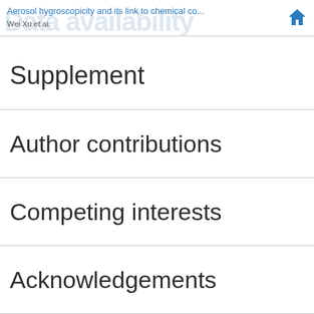Aerosol hygroscopicity and its link to chemical co...
Wei Xu et al.
Supplement
Author contributions
Competing interests
Acknowledgements